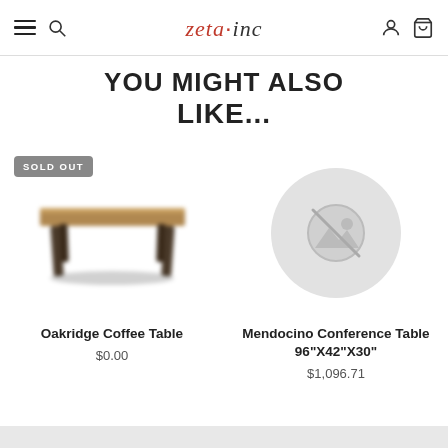zeta·inc navigation header
YOU MIGHT ALSO LIKE...
[Figure (photo): Product photo of Oakridge Coffee Table with SOLD OUT badge, blurred wooden coffee table with black legs]
Oakridge Coffee Table
$0.00
[Figure (photo): No image available placeholder circle for Mendocino Conference Table]
Mendocino Conference Table 96"X42"X30"
$1,096.71